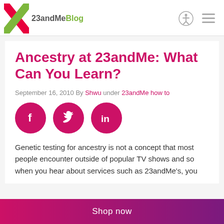23andMeBlog
Ancestry at 23andMe: What Can You Learn?
September 16, 2010 By Shwu under 23andMe how to
[Figure (infographic): Social share buttons: Facebook, Twitter, LinkedIn - pink circles with white icons]
Genetic testing for ancestry is not a concept that most people encounter outside of popular TV shows and so when you hear about services such as 23andMe's, you
Shop now